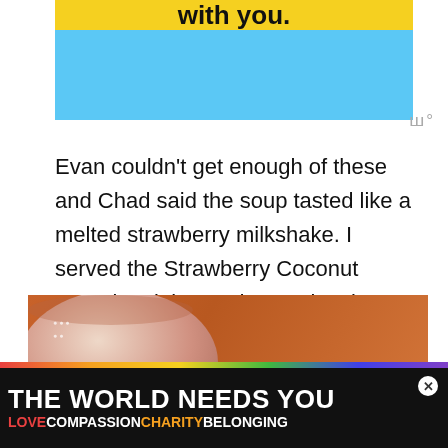[Figure (screenshot): Advertisement banner with yellow bar containing bold text 'with you.' on a light blue background]
Evan couldn't get enough of these and Chad said the soup tasted like a melted strawberry milkshake. I served the Strawberry Coconut Soup in miniature dessert bowls.
[Figure (photo): Photo of a bowl of Strawberry Coconut Soup on a warm brown background, with a 'WHAT'S NEXT' overlay showing Pineapple item]
[Figure (infographic): Black advertisement banner reading 'THE WORLD NEEDS YOU' with rainbow-colored text 'LOVE COMPASSION CHARITY BELONGING']